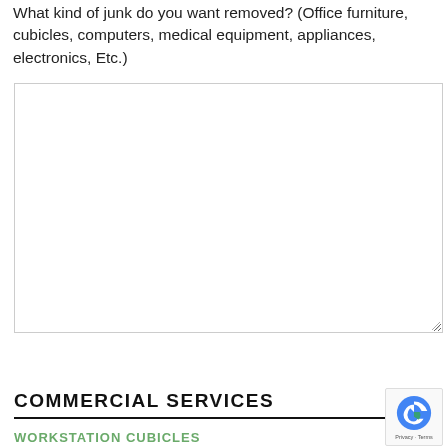What kind of junk do you want removed? (Office furniture, cubicles, computers, medical equipment, appliances, electronics, Etc.)
[Figure (other): Large empty text area input box for user response]
Submit
COMMERCIAL SERVICES
WORKSTATION CUBICLES
[Figure (other): reCAPTCHA badge with Google logo and Privacy - Terms text]